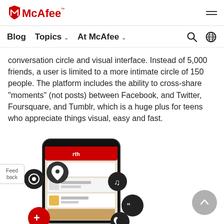McAfee
Blog  Topics  At McAfee
conversation circle and visual interface. Instead of 5,000 friends, a user is limited to a more intimate circle of 150 people. The platform includes the ability to cross-share "moments" (not posts) between Facebook, and Twitter, Foursquare, and Tumblr, which is a huge plus for teens who appreciate things visual, easy and fast.
[Figure (screenshot): A smartphone showing a social media app interface with overlaid icons for camera, location pin, music note, speech bubble with quotation marks, moon/night mode, and a red plus button. A feedback button tab appears on the left edge.]